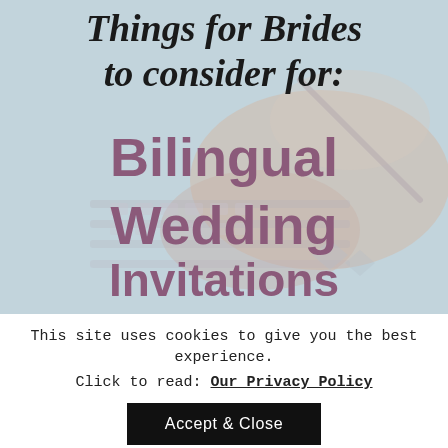[Figure (illustration): Background photo of hands working on a keyboard/planner, overlaid with text reading 'Things for Brides to consider for: Bilingual Wedding Invitations' in black italic serif and bold purple sans-serif fonts]
This site uses cookies to give you the best experience.
Click to read: Our Privacy Policy
Accept & Close